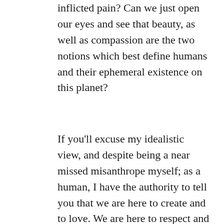inflicted pain? Can we just open our eyes and see that beauty, as well as compassion are the two notions which best define humans and their ephemeral existence on this planet?
If you'll excuse my idealistic view, and despite being a near missed misanthrope myself; as a human, I have the authority to tell you that we are here to create and to love. We are here to respect and enjoy nature. We are here to thrive from affection and empathy towards all living beings. We are all the same, exceptions included.
As a human, I am asking you to keep me safe. Just as you would with anyone you care about. Be aware and give meaning to your everyday actions. Embrace the ever blunt reality that we're all in this together.